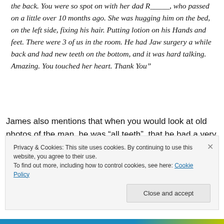the back. You were so spot on with her dad R_____, who passed on a little over 10 months ago. She was hugging him on the bed, on the left side, fixing his hair. Putting lotion on his Hands and feet. There were 3 of us in the room. He had Jaw surgery a while back and had new teeth on the bottom, and it was hard talking. Amazing. You touched her heart. Thank You”
James also mentions that when you would look at old photos of the man, he was “all teeth”, that he had a very big, wide smile.  The family seemed genuinely surprised at
Privacy & Cookies: This site uses cookies. By continuing to use this website, you agree to their use.
To find out more, including how to control cookies, see here: Cookie Policy